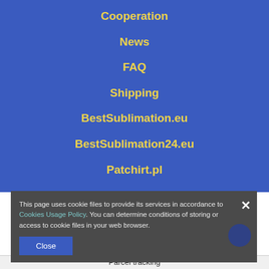Cooperation
News
FAQ
Shipping
BestSublimation.eu
BestSublimation24.eu
Patchirt.pl
This page uses cookie files to provide its services in accordance to Cookies Usage Policy. You can determine conditions of storing or access to cookie files in your web browser.
Close
Parcel tracking